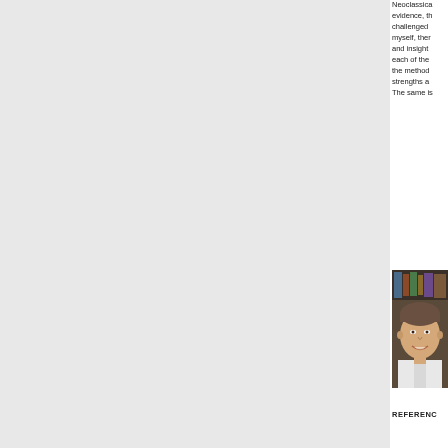Neoclassica evidence, th challenged myself, then and insight each of the the method strengths a The same is
[Figure (photo): Headshot photo of a smiling man in a white shirt, with bookshelves visible in the background]
REFERENCES